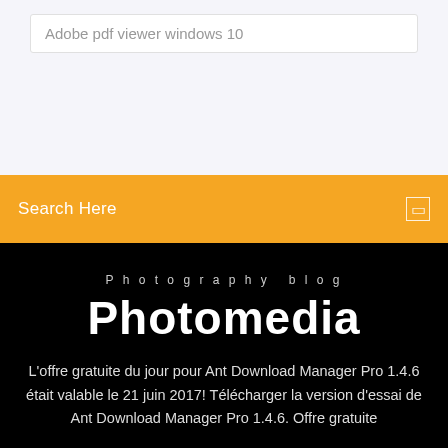Adobe pdf viewer windows 10
Search Here
Photography blog
Photomedia
L'offre gratuite du jour pour Ant Download Manager Pro 1.4.6 était valable le 21 juin 2017! Télécharger la version d'essai de Ant Download Manager Pro 1.4.6. Offre gratuite